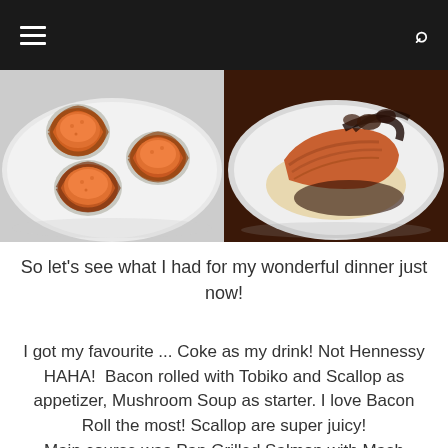≡  🔍
[Figure (photo): Two food photos side by side: left shows bacon-wrapped cups filled with orange tobiko/scallop appetizers on a white plate; right shows pan grilled salmon with dark sauce on a white plate]
So let's see what I had for my wonderful dinner just now!
I got my favourite ... Coke as my drink! Not Hennessy HAHA!  Bacon rolled with Tobiko and Scallop as appetizer, Mushroom Soup as starter. I love Bacon Roll the most! Scallop are super juicy!
Main course was Pan Grilled Salmon with Mash